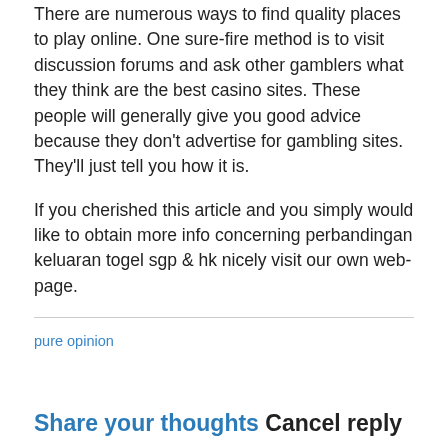There are numerous ways to find quality places to play online. One sure-fire method is to visit discussion forums and ask other gamblers what they think are the best casino sites. These people will generally give you good advice because they don't advertise for gambling sites. They'll just tell you how it is.

If you cherished this article and you simply would like to obtain more info concerning perbandingan keluaran togel sgp & hk nicely visit our own web-page.
pure opinion
Share your thoughts Cancel reply
Your email address will not be published. Required fields